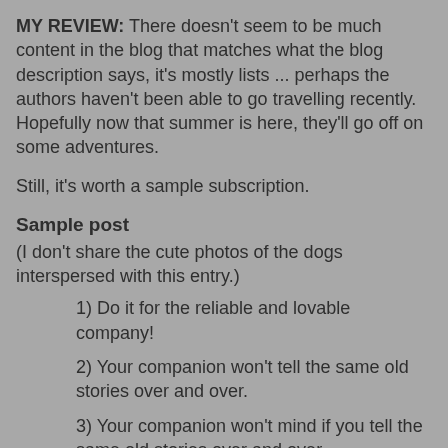MY REVIEW: There doesn't seem to be much content in the blog that matches what the blog description says, it's mostly lists ... perhaps the authors haven't been able to go travelling recently. Hopefully now that summer is here, they'll go off on some adventures.
Still, it's worth a sample subscription.
Sample post
(I don't share the cute photos of the dogs interspersed with this entry.)
1) Do it for the reliable and lovable company!
2) Your companion won't tell the same old stories over and over.
3) Your companion won't mind if you tell the same old stories over and over.
4) You get to decide the itinerary every day.